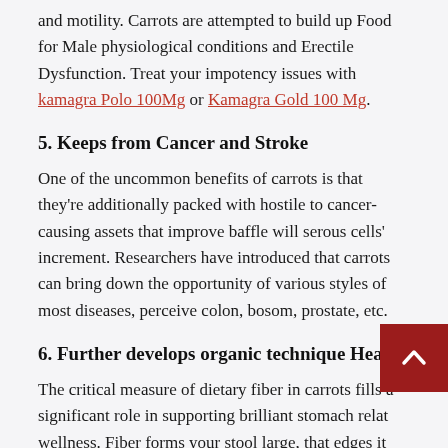and motility. Carrots are attempted to build up Food for Male physiological conditions and Erectile Dysfunction. Treat your impotency issues with kamagra Polo 100Mg or Kamagra Gold 100 Mg.
5. Keeps from Cancer and Stroke
One of the uncommon benefits of carrots is that they're additionally packed with hostile to cancer-causing assets that improve baffle will serous cells' increment. Researchers have introduced that carrots can bring down the opportunity of various styles of most diseases, perceive colon, bosom, prostate, etc.
6. Further develops organic technique Health
The critical measure of dietary fiber in carrots fills a significant role in supporting brilliant stomach related wellness. Fiber forms your stool large, that edges it sidesteps basically by means of the stomach related plot and prevents blockage.